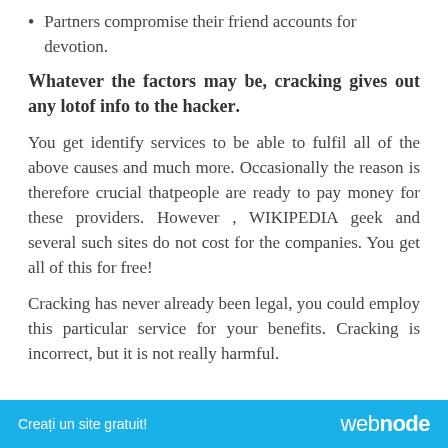Partners compromise their friend accounts for devotion.
Whatever the factors may be, cracking gives out any lotof info to the hacker.
You get identify services to be able to fulfil all of the above causes and much more. Occasionally the reason is therefore crucial thatpeople are ready to pay money for these providers. However , WIKIPEDIA geek and several such sites do not cost for the companies. You get all of this for free!
Cracking has never already been legal, you could employ this particular service for your benefits. Cracking is incorrect, but it is not really harmful.
Creați un site gratuit! webnode